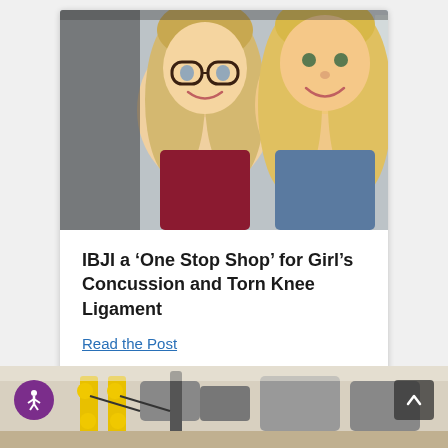[Figure (photo): Two smiling blonde women (a younger girl with glasses and an older woman) posing together indoors near a window. The younger woman wears a dark maroon top and glasses; the older woman wears a blue top.]
IBJI a ‘One Stop Shop’ for Girl’s Concussion and Torn Knee Ligament
Read the Post
[Figure (photo): Partial view of a gym or physical therapy room with exercise equipment including machines with yellow handles and various workout equipment.]